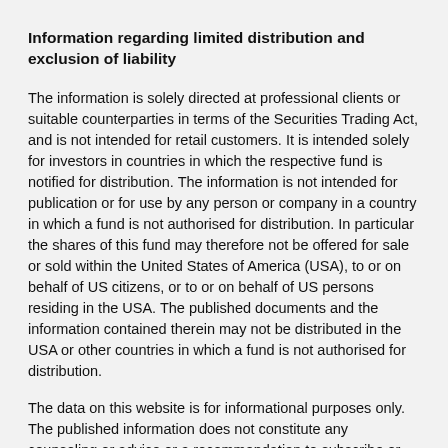Information regarding limited distribution and exclusion of liability
The information is solely directed at professional clients or suitable counterparties in terms of the Securities Trading Act, and is not intended for retail customers. It is intended solely for investors in countries in which the respective fund is notified for distribution. The information is not intended for publication or for use by any person or company in a country in which a fund is not authorised for distribution. In particular the shares of this fund may therefore not be offered for sale or sold within the United States of America (USA), to or on behalf of US citizens, or to or on behalf of US persons residing in the USA. The published documents and the information contained therein may not be distributed in the USA or other countries in which a fund is not authorised for distribution.
The data on this website is for informational purposes only. The published information does not constitute any counseling or advice or a recommendation to subscribe or an offer to buy or